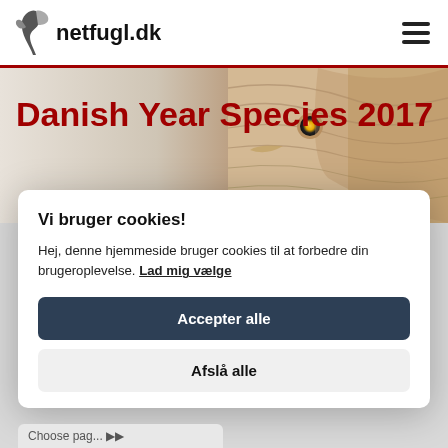netfugl.dk
Danish Year Species 2017
[Figure (photo): Close-up photograph of a bird, brownish plumage visible on right side of banner]
Vi bruger cookies!
Hej, denne hjemmeside bruger cookies til at forbedre din brugeroplevelse. Lad mig vælge
Accepter alle
Afslå alle
Choose pag...